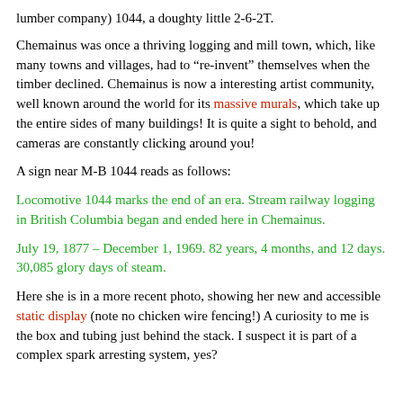lumber company) 1044, a doughty little 2-6-2T.
Chemainus was once a thriving logging and mill town, which, like many towns and villages, had to “re-invent” themselves when the timber declined. Chemainus is now a interesting artist community, well known around the world for its massive murals, which take up the entire sides of many buildings! It is quite a sight to behold, and cameras are constantly clicking around you!
A sign near M-B 1044 reads as follows:
Locomotive 1044 marks the end of an era. Stream railway logging in British Columbia began and ended here in Chemainus.
July 19, 1877 – December 1, 1969. 82 years, 4 months, and 12 days. 30,085 glory days of steam.
Here she is in a more recent photo, showing her new and accessible static display (note no chicken wire fencing!) A curiosity to me is the box and tubing just behind the stack. I suspect it is part of a complex spark arresting system, yes?